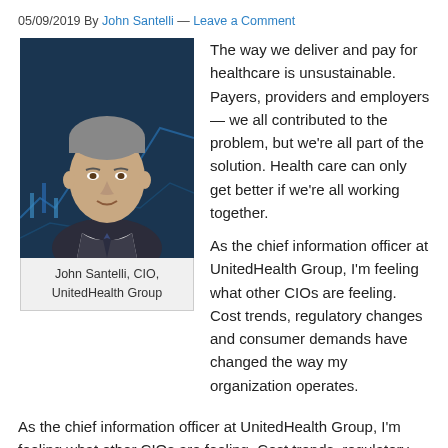05/09/2019 By John Santelli — Leave a Comment
[Figure (photo): Portrait photo of John Santelli, a middle-aged man in a dark suit and tie, with a financial chart background]
John Santelli, CIO, UnitedHealth Group
The way we deliver and pay for healthcare is unsustainable. Payers, providers and employers — we all contributed to the problem, but we're all part of the solution. Health care can only get better if we're all working together.
As the chief information officer at UnitedHealth Group, I'm feeling what other CIOs are feeling. Cost trends, regulatory changes and consumer demands have changed the way my organization operates.
We have always encouraged our payer and provider